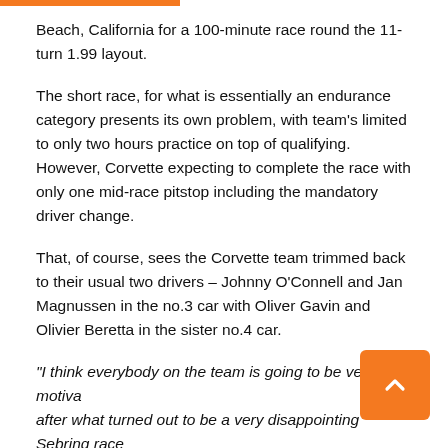Beach, California for a 100-minute race round the 11-turn 1.99 layout.
The short race, for what is essentially an endurance category presents its own problem, with team's limited to only two hours practice on top of qualifying. However, Corvette expecting to complete the race with only one mid-race pitstop including the mandatory driver change.
That, of course, sees the Corvette team trimmed back to their usual two drivers – Johnny O'Connell and Jan Magnussen in the no.3 car with Oliver Gavin and Olivier Beretta in the sister no.4 car.
“I think everybody on the team is going to be very motivated after what turned out to be a very disappointing Sebring race for us,” O’Connell explains. “The limited track time means that